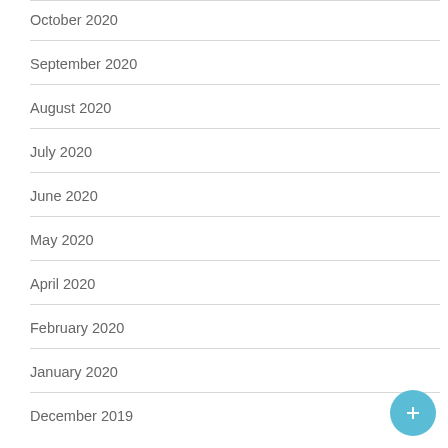October 2020
September 2020
August 2020
July 2020
June 2020
May 2020
April 2020
February 2020
January 2020
December 2019